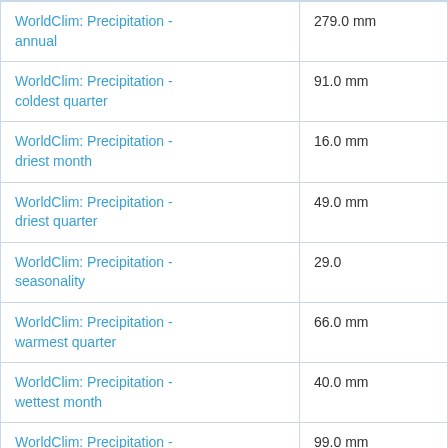| WorldClim: Precipitation - annual | 279.0 mm |
| WorldClim: Precipitation - coldest quarter | 91.0 mm |
| WorldClim: Precipitation - driest month | 16.0 mm |
| WorldClim: Precipitation - driest quarter | 49.0 mm |
| WorldClim: Precipitation - seasonality | 29.0 |
| WorldClim: Precipitation - warmest quarter | 66.0 mm |
| WorldClim: Precipitation - wettest month | 40.0 mm |
| WorldClim: Precipitation - wettest quarter | 99.0 mm |
| WorldClim: Temperature - annual mean | 178.0 degrees C * 10 |